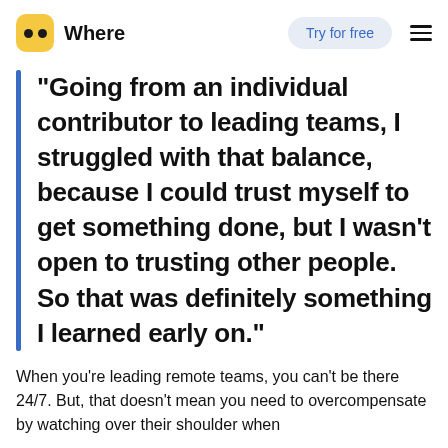Where | Try for free
"Going from an individual contributor to leading teams, I struggled with that balance, because I could trust myself to get something done, but I wasn't open to trusting other people. So that was definitely something I learned early on."
When you're leading remote teams, you can't be there 24/7. But, that doesn't mean you need to overcompensate by watching over their shoulder when